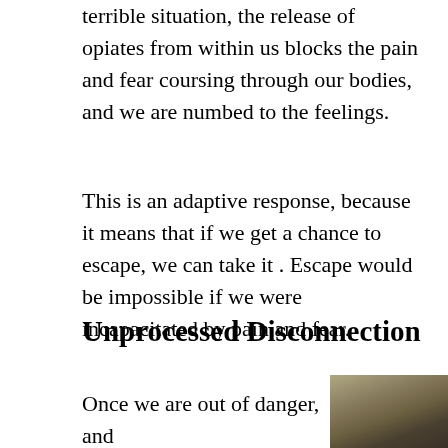terrible situation, the release of opiates from within us blocks the pain and fear coursing through our bodies, and we are numbed to the feelings.
This is an adaptive response, because it means that if we get a chance to escape, we can take it. Escape would be impossible if we were incapacitated by pain and fear.
Unprocessed Disconnection
Once we are out of danger, and
[Figure (photo): A dark, atmospheric photograph showing a hazy outdoor scene with muted olive and brown tones, possibly fog or smoke.]